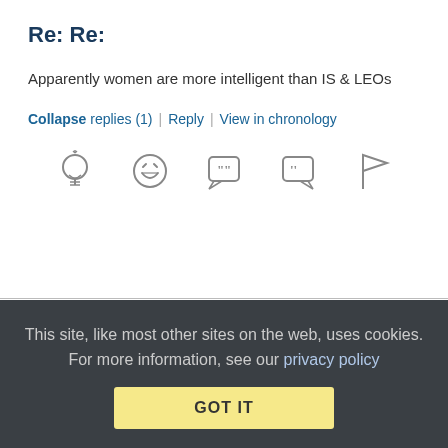Re: Re:
Apparently women are more intelligent than IS & LEOs
Collapse replies (1) | Reply | View in chronology
[Figure (other): Row of action icons: lightbulb (insight/recommend), laughing face (funny), quote bubble open, quote bubble closed, flag]
[Figure (other): Reply badge icon with [3] indicator]
[Figure (other): Anonymous Coward avatar - green pixelated pattern square]
Anonymous Coward  January 6, 2016 at 6:38 pm
This site, like most other sites on the web, uses cookies. For more information, see our privacy policy
GOT IT